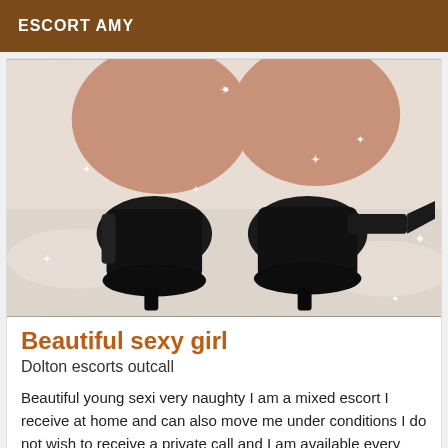ESCORT AMY
[Figure (photo): Close-up photo of legs wearing black high-heel shoes on a white background with sparkle effects]
Beautiful sexy girl
Dolton escorts outcall
Beautiful young sexi very naughty I am a mixed escort I receive at home and can also move me under conditions I do not wish to receive a private call and I am available every day week end included imane
Online